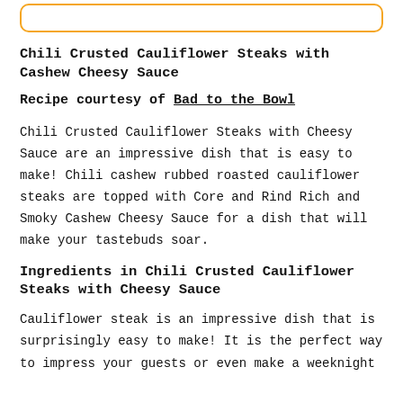[Figure (other): Orange rounded rectangle border box at top of page]
Chili Crusted Cauliflower Steaks with Cashew Cheesy Sauce
Recipe courtesy of Bad to the Bowl
Chili Crusted Cauliflower Steaks with Cheesy Sauce are an impressive dish that is easy to make! Chili cashew rubbed roasted cauliflower steaks are topped with Core and Rind Rich and Smoky Cashew Cheesy Sauce for a dish that will make your tastebuds soar.
Ingredients in Chili Crusted Cauliflower Steaks with Cheesy Sauce
Cauliflower steak is an impressive dish that is surprisingly easy to make! It is the perfect way to impress your guests or even make a weeknight...